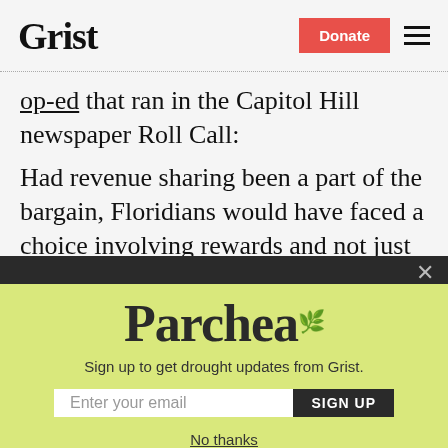Grist | Donate
op-ed that ran in the Capitol Hill newspaper Roll Call:
Had revenue sharing been a part of the bargain, Floridians would have faced a choice involving rewards and not just risks. Given Florida's current $6 billion budget deficit, such a choice would be starker
[Figure (screenshot): Parchea newsletter signup modal overlay with lime-green background, showing 'Parchea' logo, subtitle 'Sign up to get drought updates from Grist.', email input field, SIGN UP button, and 'No thanks' link]
Sign up to get drought updates from Grist.
No thanks